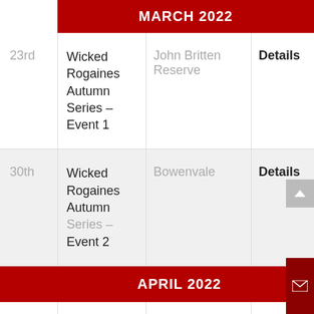MARCH 2022
| Date | Event | Location | Action |
| --- | --- | --- | --- |
| 23rd | Wicked Rogaines Autumn Series – Event 1 | John Britten Reserve | Details |
| 30th | Wicked Rogaines Autumn Series – Event 2 | Bowenvale | Details |
APRIL 2022
| Date | Event | Location | Action |
| --- | --- | --- | --- |
| 6th | Wicked | Chch | Details |